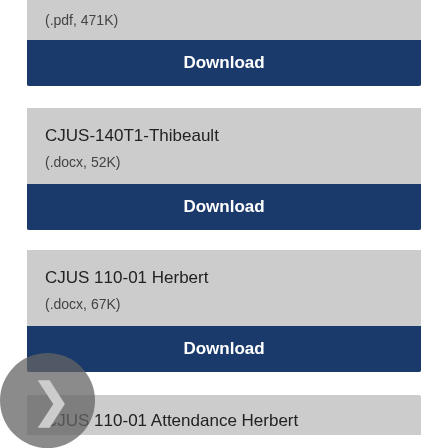(.pdf, 471K)
Download
CJUS-140T1-Thibeault
(.docx, 52K)
Download
CJUS 110-01 Herbert
(.docx, 67K)
Download
CJUS 110-01 Attendance Herbert